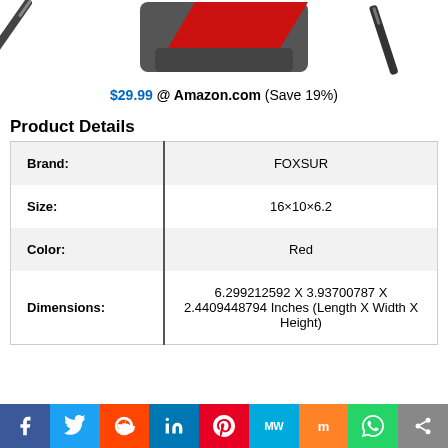[Figure (photo): Product image showing a red and black bag/case with diagonal design elements]
$29.99 @ Amazon.com (Save 19%)
Product Details
| Attribute | Value |
| --- | --- |
| Brand: | FOXSUR |
| Size: | 16×10×6.2 |
| Color: | Red |
| Dimensions: | 6.299212592 X 3.93700787 X 2.4409448794 Inches (Length X Width X Height) |
Facebook Twitter Reddit LinkedIn Pinterest MeWe Mix WhatsApp Share